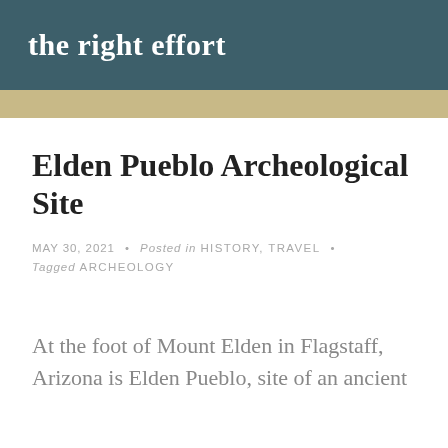the right effort
Elden Pueblo Archeological Site
MAY 30, 2021 • Posted in HISTORY, TRAVEL • Tagged ARCHEOLOGY
At the foot of Mount Elden in Flagstaff, Arizona is Elden Pueblo, site of an ancient